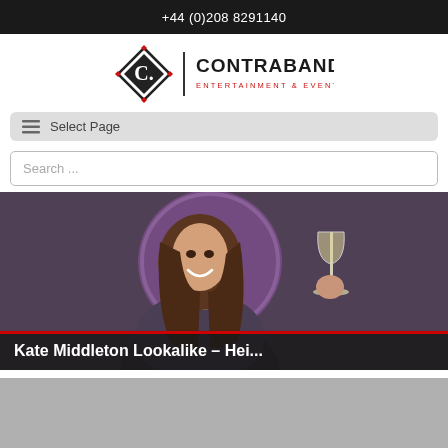+44 (0)208 8291140
[Figure (logo): Contraband Entertainment & Events Agency logo with diamond C emblem]
Select Page
Search ...
[Figure (photo): Woman smiling and holding a wine glass, seated in front of a purple decorative circle backdrop]
Kate Middleton Lookalike – Hei...
[Figure (photo): Partially visible image below, grey placeholder]